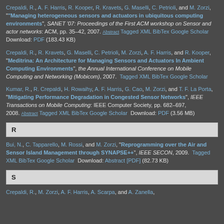Crepaldi, R., A. F. Harris, R. Kooper, R. Kravets, G. Maselli, C. Petrioli, and M. Zorzi, "Managing heterogeneous sensors and actuators in ubiquitous computing environments", SANET '07: Proceedings of the First ACM workshop on Sensor and actor networks: ACM, pp. 35–42, 2007. Abstract Tagged XML BibTex Google Scholar Download: PDF (183.43 KB)
Crepaldi, R., R. Kravets, G. Maselli, C. Petrioli, M. Zorzi, A. F. Harris, and R. Kooper, "Meditrina: An Architecture for Managing Sensors and Actuators In Ambient Computing Environments", the Annual International Conference on Mobile Computing and Networking (Mobicom), 2007. Tagged XML BibTex Google Scholar
Kumar, R., R. Crepaldi, H. Rowaihy, A. F. Harris, G. Cao, M. Zorzi, and T. F. La Porta, "Mitigating Performance Degradation in Congested Sensor Networks", IEEE Transactions on Mobile Computing: IEEE Computer Society, pp. 682–697, 2008. Abstract Tagged XML BibTex Google Scholar Download: PDF (3.56 MB)
R
Bui, N., C. Tapparello, M. Rossi, and M. Zorzi, "Reprogramming over the Air and Sensor Island Management through SYNAPSE++", IEEE SECON, 2009. Tagged XML BibTex Google Scholar Download: Abstract [PDF] (82.73 KB)
S
Crepaldi, R., M. Zorzi, A. F. Harris, A. Scarpa, and A. Zanella,